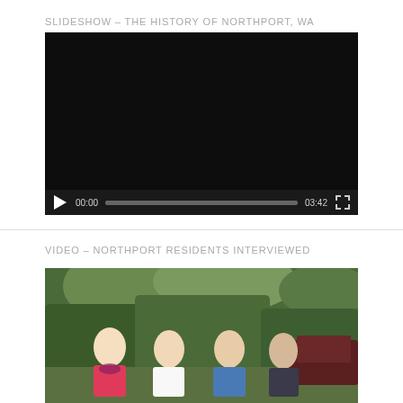SLIDESHOW – THE HISTORY OF NORTHPORT, WA
[Figure (screenshot): Embedded video player showing black screen with play button, progress bar showing 00:00 / 03:42, and fullscreen button]
VIDEO – NORTHPORT RESIDENTS INTERVIEWED
[Figure (photo): Four women standing outdoors in front of green trees, wearing colorful clothes (pink, white, blue jackets)]